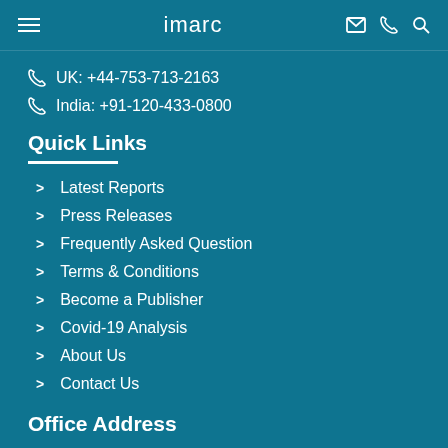imarc
UK: +44-753-713-2163
India: +91-120-433-0800
Quick Links
Latest Reports
Press Releases
Frequently Asked Question
Terms & Conditions
Become a Publisher
Covid-19 Analysis
About Us
Contact Us
Office Address